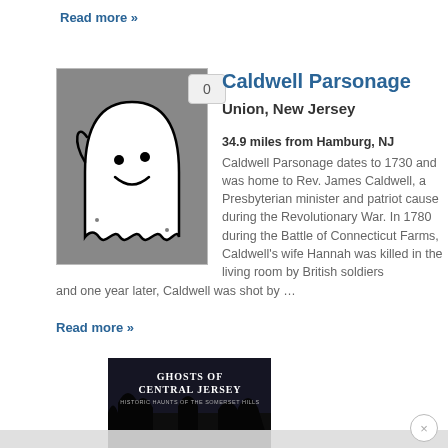Read more »
Caldwell Parsonage
Union, New Jersey
34.9 miles from Hamburg, NJ
Caldwell Parsonage dates to 1730 and was home to Rev. James Caldwell, a Presbyterian minister and patriot cause during the Revolutionary War. In 1780 during the Battle of Connecticut Farms, Caldwell's wife Hannah was killed in the living room by British soldiers and one year later, Caldwell was shot by ...
Read more »
[Figure (illustration): Book cover: Ghosts of Central Jersey - Historic Haunts of the Somerset Hills, dark image with trees]
[Figure (illustration): Ghost cartoon icon: white cartoonish ghost on grey background with a badge showing 0]